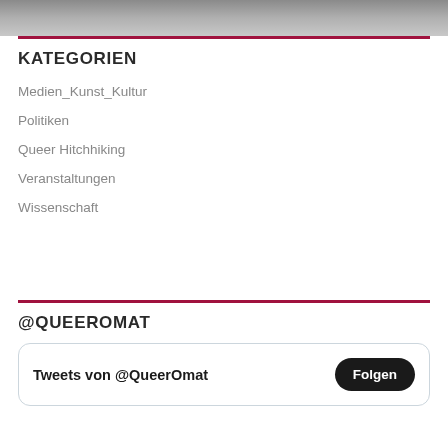[Figure (photo): Partial photo strip at top of page, gray/blurred background image]
KATEGORIEN
Medien_Kunst_Kultur
Politiken
Queer Hitchhiking
Veranstaltungen
Wissenschaft
@QUEEROMAT
Tweets von @QueerOmat  Folgen